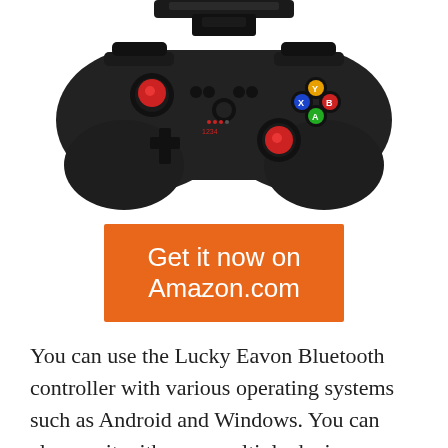[Figure (photo): A black Bluetooth game controller with colored buttons (yellow, blue, red, green), dual analog sticks, a D-pad, and a phone/tablet holder clamp on top. The controller is photographed on a white background.]
Get it now on Amazon.com
You can use the Lucky Eavon Bluetooth controller with various operating systems such as Android and Windows. You can also use it with your multiple devices, including computers, TVs, and